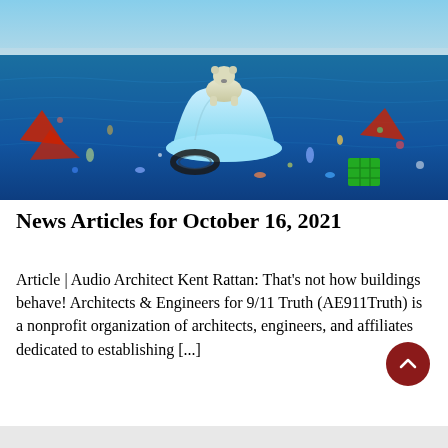[Figure (photo): A polar bear standing on a small melting iceberg surrounded by ocean water filled with floating plastic debris and garbage, illustrating ocean pollution and climate change.]
News Articles for October 16, 2021
Article | Audio Architect Kent Rattan: That's not how buildings behave! Architects & Engineers for 9/11 Truth (AE911Truth) is a nonprofit organization of architects, engineers, and affiliates dedicated to establishing [...]